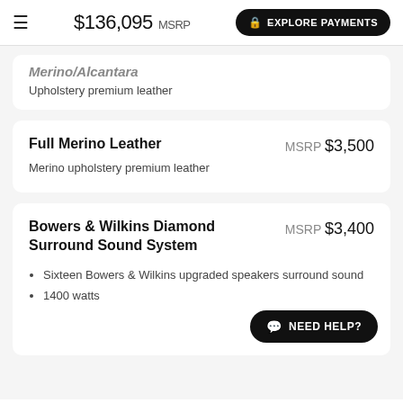$136,095 MSRP  EXPLORE PAYMENTS
Merino/Alcantara
Upholstery premium leather
Full Merino Leather
MSRP $3,500
Merino upholstery premium leather
Bowers & Wilkins Diamond Surround Sound System
MSRP $3,400
Sixteen Bowers & Wilkins upgraded speakers surround sound
1400 watts